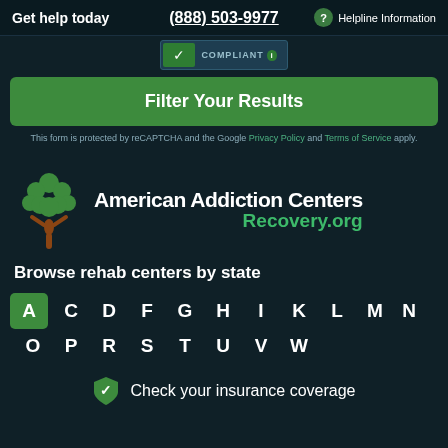Get help today   (888) 503-9977   ? Helpline Information
[Figure (logo): COMPLIANT badge with checkmark]
Filter Your Results
This form is protected by reCAPTCHA and the Google Privacy Policy and Terms of Service apply.
[Figure (logo): American Addiction Centers Recovery.org logo with tree icon]
Browse rehab centers by state
A C D F G H I K L M N O P R S T U V W
Check your insurance coverage